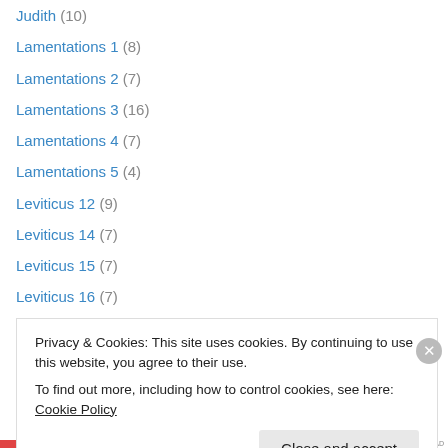Judith (10)
Lamentations 1 (8)
Lamentations 2 (7)
Lamentations 3 (16)
Lamentations 4 (7)
Lamentations 5 (4)
Leviticus 12 (9)
Leviticus 14 (7)
Leviticus 15 (7)
Leviticus 16 (7)
Leviticus 18 (6)
Leviticus 19 (24)
Leviticus 20 (9)
Privacy & Cookies: This site uses cookies. By continuing to use this website, you agree to their use. To find out more, including how to control cookies, see here: Cookie Policy